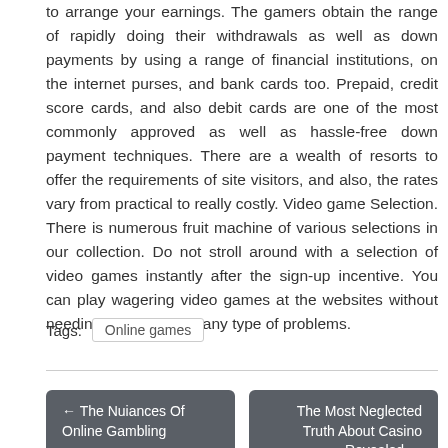to arrange your earnings. The gamers obtain the range of rapidly doing their withdrawals as well as down payments by using a range of financial institutions, on the internet purses, and bank cards too. Prepaid, credit score cards, and also debit cards are one of the most commonly approved as well as hassle-free down payment techniques. There are a wealth of resorts to offer the requirements of site visitors, and also, the rates vary from practical to really costly. Video game Selection. There is numerous fruit machine of various selections in our collection. Do not stroll around with a selection of video games instantly after the sign-up incentive. You can play wagering video games at the websites without needing to bother with any type of problems.
Tags: Online games
← The Nuiances Of Online Gambling
The Most Neglected Truth About Casino Revealed →